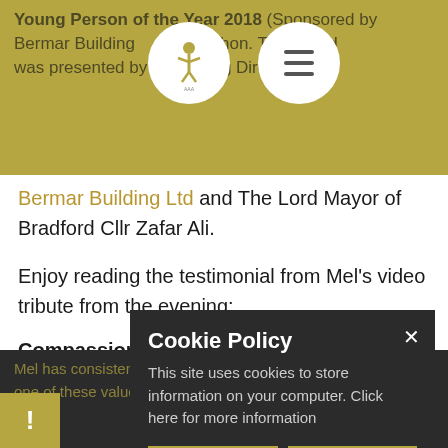Young Person of the Year 2018 (Sponsored by Bermar Building Ltd & McMahon. The award was presented by the Managing Director of Bermar Building Ltd and The Lord Mayor of Bradford Cllr Zafar Ali.
Enjoy reading the testimonial from Mel's video tribute from the evening:
Compassion. Honesty. Integrity. Excellence.
Mel has consistently embodied each and every one of these values with compassion, honesty, and integrity. She started
Cookie Policy
This site uses cookies to store information on your computer. Click here for more information